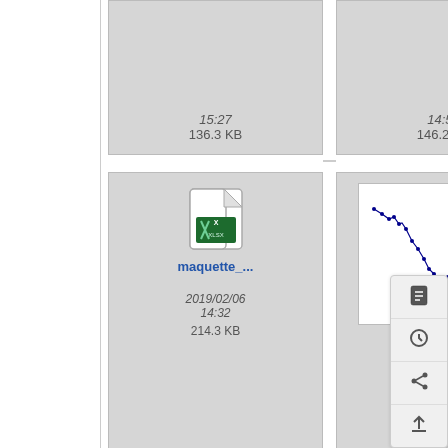[Figure (screenshot): File browser / media gallery showing file tiles with thumbnails, filenames, dates, and sizes. Top row shows two partially visible tiles with times 15:27/136.3KB and 14:51/146.2KB. Middle row shows maquette_... (XLSX icon, 2019/02/06 14:32, 214.3 KB) and marche.gif (line chart thumbnail, 610×460, 2017/12/22 14:51, 7.3 KB) and a partial third tile. Bottom row shows mathformu... (dark image thumbnail) and nor.jpg (bell curve thumbnail) and a partial third tile. A context menu with icons (document, history, link, upload) overlays the bottom-right area.]